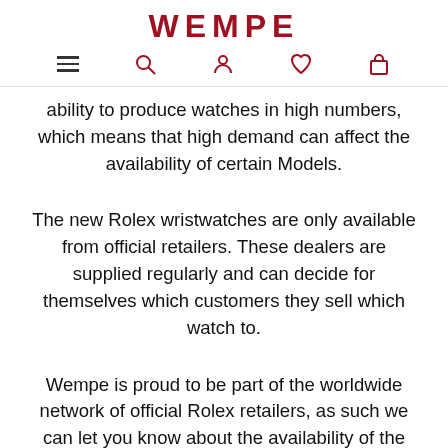WEMPE
ability to produce watches in high numbers, which means that high demand can affect the availability of certain Models.
The new Rolex wristwatches are only available from official retailers. These dealers are supplied regularly and can decide for themselves which customers they sell which watch to.
Wempe is proud to be part of the worldwide network of official Rolex retailers, as such we can let you know about the availability of the various Models.